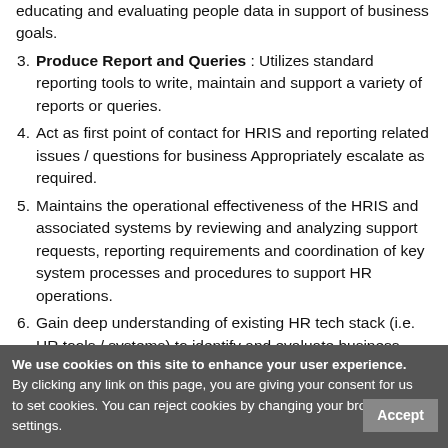educating and evaluating people data in support of business goals.
3. Produce Report and Queries : Utilizes standard reporting tools to write, maintain and support a variety of reports or queries.
4. Act as first point of contact for HRIS and reporting related issues / questions for business Appropriately escalate as required.
5. Maintains the operational effectiveness of the HRIS and associated systems by reviewing and analyzing support requests, reporting requirements and coordination of key system processes and procedures to support HR operations.
6. Gain deep understanding of existing HR tech stack (i.e. HR tools / systems) to identify and evaluate business process gaps and propose solutions using existing HR technologies and recommend enhancements when appropriate
7. Analyzes and recommends system changes/updates against
8. In collaboration with HR roles, carries out HRIS cloud system updates (di-annual).
9. ...supporting HRIS tools and impact change, the projects are delivered against agreed scope.
10. Supports initiatives from across the HR portfolio related to
We use cookies on this site to enhance your user experience. By clicking any link on this page, you are giving your consent for us to set cookies. You can reject cookies by changing your browser settings.